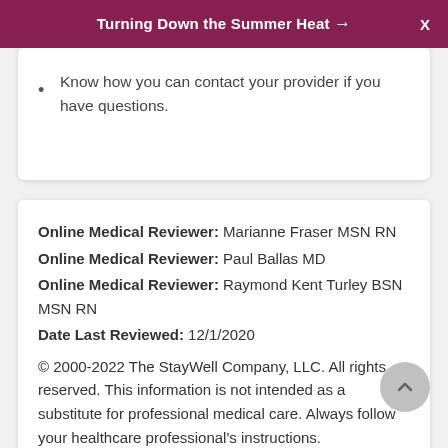Turning Down the Summer Heat →
Know how you can contact your provider if you have questions.
Online Medical Reviewer: Marianne Fraser MSN RN
Online Medical Reviewer: Paul Ballas MD
Online Medical Reviewer: Raymond Kent Turley BSN MSN RN
Date Last Reviewed: 12/1/2020
© 2000-2022 The StayWell Company, LLC. All rights reserved. This information is not intended as a substitute for professional medical care. Always follow your healthcare professional's instructions.